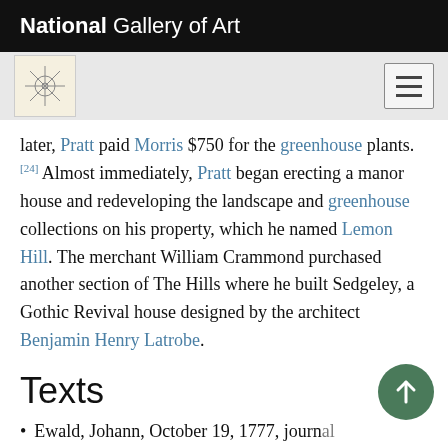National Gallery of Art
later, Pratt paid Morris $750 for the greenhouse plants. [24] Almost immediately, Pratt began erecting a manor house and redeveloping the landscape and greenhouse collections on his property, which he named Lemon Hill. The merchant William Crammond purchased another section of The Hills where he built Sedgeley, a Gothic Revival house designed by the architect Benjamin Henry Latrobe.
Texts
Ewald, Johann, October 19, 1777, journal entry describing military action at The Hills